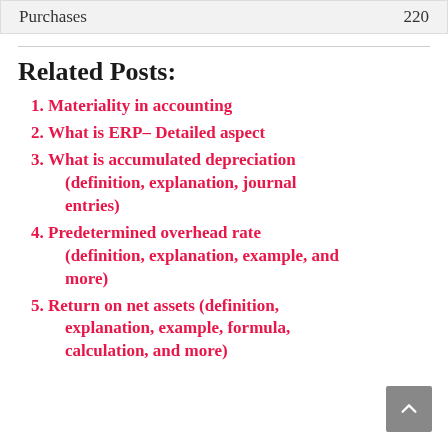| Purchases | 220 |
Related Posts:
Materiality in accounting
What is ERP– Detailed aspect
What is accumulated depreciation (definition, explanation, journal entries)
Predetermined overhead rate (definition, explanation, example, and more)
Return on net assets (definition, explanation, example, formula, calculation, and more)